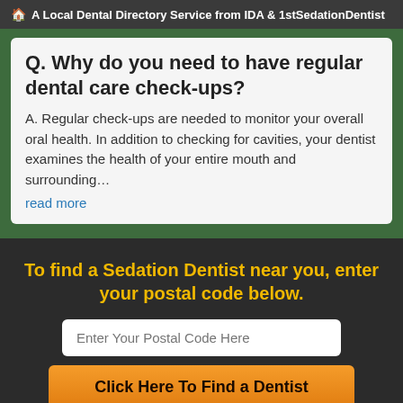🏠 A Local Dental Directory Service from IDA & 1stSedationDentist
Q. Why do you need to have regular dental care check-ups?
A. Regular check-ups are needed to monitor your overall oral health. In addition to checking for cavities, your dentist examines the health of your entire mouth and surrounding…
read more
To find a Sedation Dentist near you, enter your postal code below.
Enter Your Postal Code Here
Click Here To Find a Dentist
© 2022, Internet Dental Alliance, Inc. All Rights Reserved.
About Us - Terms of Service Agreement - Privacy Policy -